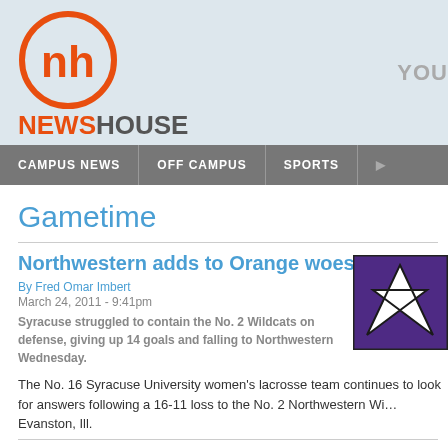[Figure (logo): NewsHouse logo: orange circle with 'nh' letters inside, and orange/gray NEWSHOUSE text below]
YOU
CAMPUS NEWS | OFF CAMPUS | SPORTS
Gametime
Northwestern adds to Orange woes
By Fred Omar Imbert
March 24, 2011 - 9:41pm
Syracuse struggled to contain the No. 2 Wildcats on defense, giving up 14 goals and falling to Northwestern Wednesday.
[Figure (logo): Northwestern Wildcats logo - purple background with white wildcat head]
The No. 16 Syracuse University women's lacrosse team continues to look for answers following a 16-11 loss to the No. 2 Northwestern Wildcats in Evanston, Ill.